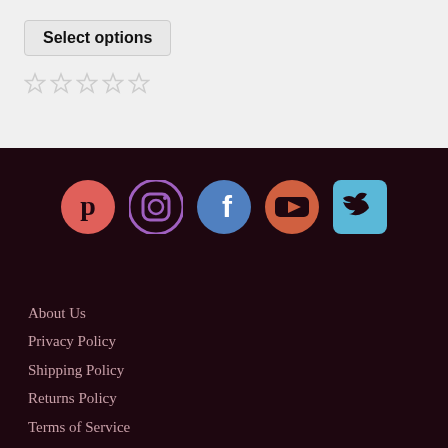Select options
[Figure (other): Five empty star rating icons]
[Figure (other): Social media icons row: Pinterest, Instagram, Facebook, YouTube, Twitter]
About Us
Privacy Policy
Shipping Policy
Returns Policy
Terms of Service